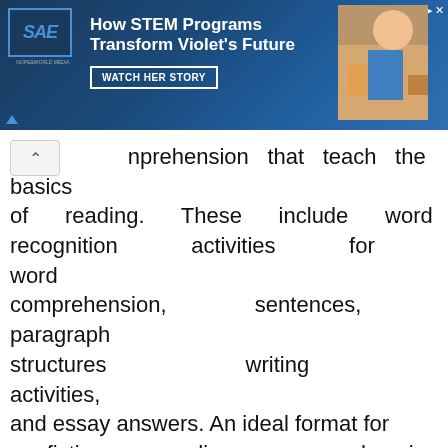[Figure (other): Advertisement banner: SAE logo on left, text 'How STEM Programs Transform Violet's Future' with 'WATCH HER STORY' button, child photo on right]
nprehension that teach the basics of reading. These include word recognition activities for word comprehension, sentences, paragraph structures writing activities, and essay answers. An ideal format for nonfiction reading comprehension worksheets is typically multiple-choice, allowing students to select the correct answer from a list. The topics could be math problems or nature facts. Other topics include short stories.